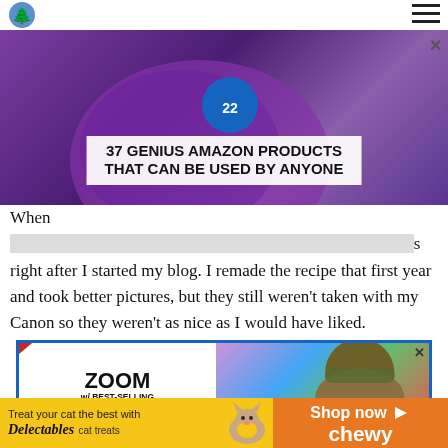[Figure (screenshot): Website header with logo and hamburger menu]
[Figure (photo): Advertisement banner: 37 GENIUS AMAZON PRODUCTS THAT CAN BE USED BY ANYONE, with purple headphones background]
When [text obscured by ad] s right after I started my blog. I remade the recipe that first year and took better pictures, but they still weren't taken with my Canon so they weren't as nice as I would have liked.
[Figure (photo): Advertisement: BID TO WIN! ZOOM w/ BEST-SELLING AUTHOR ALAN, with man wearing hat and glasses photo]
[Figure (photo): Bottom banner ad: Treat your cat the best with Delectables cat treats, Shop now, chewy logo]